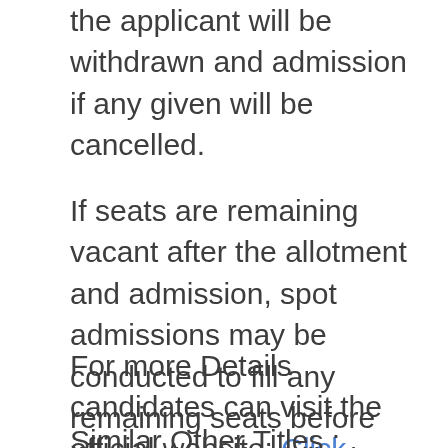the applicant will be withdrawn and admission if any given will be cancelled.
If seats are remaining vacant after the allotment and admission, spot admissions may be conducted to fill any remaining seats before the closing of admission.
For more Details candidates can visit the official website: Click HERE
Similar Other Titles :